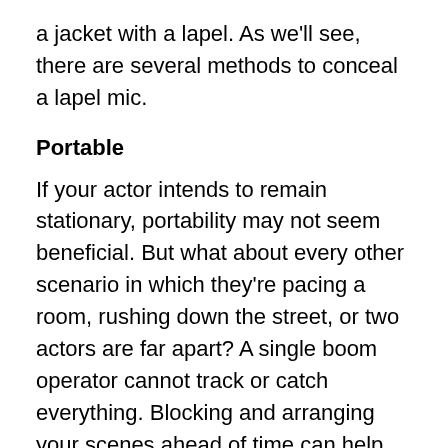a jacket with a lapel. As we'll see, there are several methods to conceal a lapel mic.
Portable
If your actor intends to remain stationary, portability may not seem beneficial. But what about every other scenario in which they're pacing a room, rushing down the street, or two actors are far apart? A single boom operator cannot track or catch everything. Blocking and arranging your scenes ahead of time can help you choose the ideal technique to capture the audio.
Hands-Free
The lavalier microphone takes relatively little operation once it is installed, switched on, and the settings are adjusted. You can mic up to ten performers simultaneously, especially if you use a cordless lavalier microphone, and